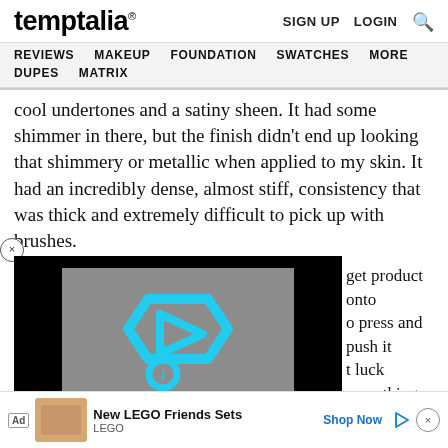temptalia® — SIGN UP  LOGIN  🔍
REVIEWS  MAKEUP  FOUNDATION  SWATCHES  MORE  DUPES  MATRIX
cool undertones and a satiny sheen. It had some shimmer in there, but the finish didn't end up looking that shimmery or metallic when applied to my skin. It had an incredibly dense, almost stiff, consistency that was thick and extremely difficult to pick up with brushes.
[Figure (screenshot): Video player overlay showing cyan/teal triangular play icon logo on a gray background, surrounded by black bars — an embedded video ad placeholder.]
get product onto press and push it luck smoothing using it with a wet ours before fading
visibly.
[Figure (screenshot): Bottom ad banner for New LEGO Friends Sets by LEGO with Shop Now button, play icon, and close button.]